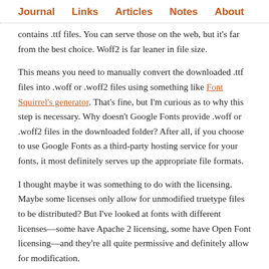Journal  Links  Articles  Notes  About
contains .ttf files. You can serve those on the web, but it's far from the best choice. Woff2 is far leaner in file size.
This means you need to manually convert the downloaded .ttf files into .woff or .woff2 files using something like Font Squirrel's generator. That's fine, but I'm curious as to why this step is necessary. Why doesn't Google Fonts provide .woff or .woff2 files in the downloaded folder? After all, if you choose to use Google Fonts as a third-party hosting service for your fonts, it most definitely serves up the appropriate file formats.
I thought maybe it was something to do with the licensing. Maybe some licenses only allow for unmodified truetype files to be distributed? But I've looked at fonts with different licenses—some have Apache 2 licensing, some have Open Font licensing—and they're all quite permissive and definitely allow for modification.